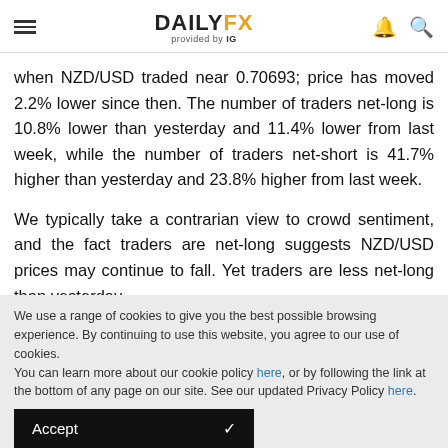DAILYFX provided by IG
when NZD/USD traded near 0.70693; price has moved 2.2% lower since then. The number of traders net-long is 10.8% lower than yesterday and 11.4% lower from last week, while the number of traders net-short is 41.7% higher than yesterday and 23.8% higher from last week.
We typically take a contrarian view to crowd sentiment, and the fact traders are net-long suggests NZD/USD prices may continue to fall. Yet traders are less net-long than yesterday
We use a range of cookies to give you the best possible browsing experience. By continuing to use this website, you agree to our use of cookies.
You can learn more about our cookie policy here, or by following the link at the bottom of any page on our site. See our updated Privacy Policy here.
Accept